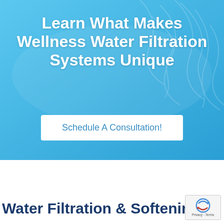[Figure (screenshot): Blue hero banner with water-like background texture in light blue tones]
Learn What Makes Wellness Water Filtration Systems Unique
Schedule A Consultation!
Water Filtration & Softening